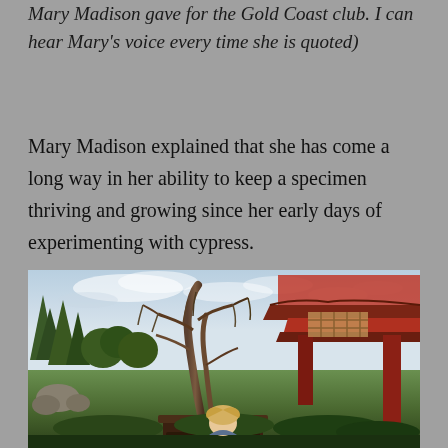Mary Madison gave for the Gold Coast club. I can hear Mary's voice every time she is quoted)
Mary Madison explained that she has come a long way in her ability to keep a specimen thriving and growing since her early days of experimenting with cypress.
[Figure (photo): Outdoor photo of a large bonsai cypress tree in a dark rectangular pot, positioned in front of a Japanese-style red pagoda structure on the right. A blonde woman stands partially visible behind the pot at the bottom center. Background shows greenery, pine trees, rocks, and a cloudy sky.]